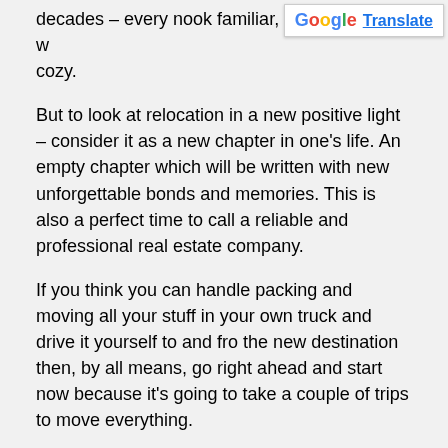decades – every nook familiar, every cranny w... cozy.
But to look at relocation in a new positive light – consider it as a new chapter in one's life. An empty chapter which will be written with new unforgettable bonds and memories. This is also a perfect time to call a reliable and professional real estate company.
If you think you can handle packing and moving all your stuff in your own truck and drive it yourself to and fro the new destination then, by all means, go right ahead and start now because it's going to take a couple of trips to move everything.
Nonetheless, if you want an easy-breezy move, it's best to leave everything to the experts. Now, if you want to save money during the entire process, I suggest you read on and do these 5 useful home shifting tips that'll help you save money.